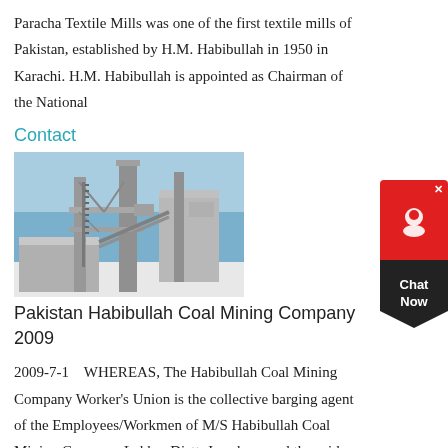Paracha Textile Mills was one of the first textile mills of Pakistan, established by H.M. Habibullah in 1950 in Karachi. H.M. Habibullah is appointed as Chairman of the National
Contact
[Figure (photo): Industrial coal mining facility with tall metal structures, conveyors, and equipment against a blue sky.]
Pakistan Habibullah Coal Mining Company 2009
2009-7-1    WHEREAS, The Habibullah Coal Mining Company Worker's Union is the collective barging agent of the Employees/Workmen of M/S Habibullah Coal Mining Company Lakhra Distt. Jamshoro and the said C.B.A. Union